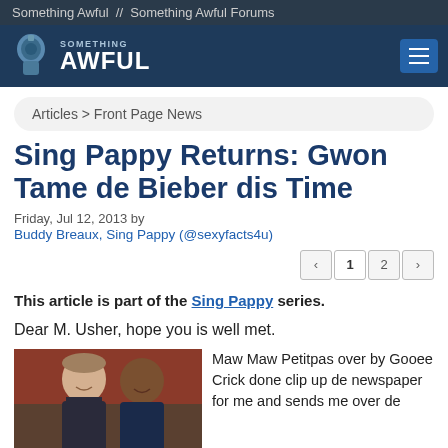Something Awful  //  Something Awful Forums
[Figure (logo): Something Awful logo with grenade icon and site navigation header bar with hamburger menu button]
Articles > Front Page News
Sing Pappy Returns: Gwon Tame de Bieber dis Time
Friday, Jul 12, 2013 by
Buddy Breaux, Sing Pappy (@sexyfacts4u)
« 1 2 »
This article is part of the Sing Pappy series.
Dear M. Usher, hope you is well met.
[Figure (photo): Photo of Justin Bieber and Usher posing together]
Maw Maw Petitpas over by Gooee Crick done clip up de newspaper for me and sends me over de